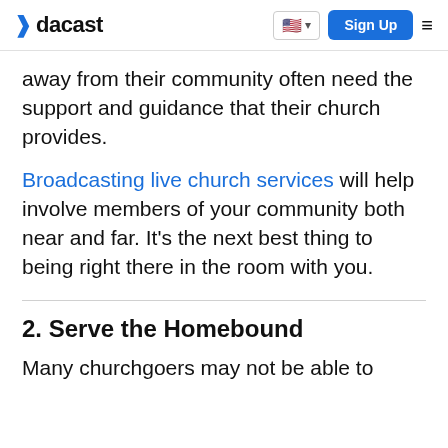dacast | Sign Up
away from their community often need the support and guidance that their church provides.
Broadcasting live church services will help involve members of your community both near and far. It's the next best thing to being right there in the room with you.
2. Serve the Homebound
Many churchgoers may not be able to